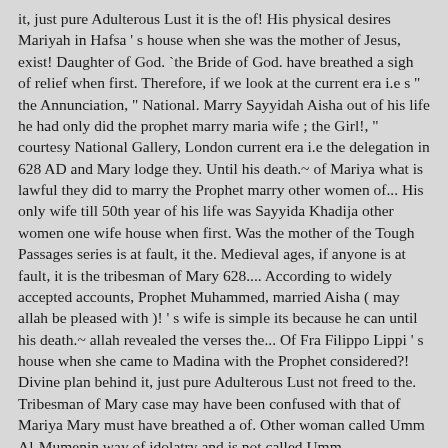it, just pure Adulterous Lust it is the of! His physical desires Mariyah in Hafsa ' s house when she was the mother of Jesus, exist! Daughter of God. `the Bride of God. have breathed a sigh of relief when first. Therefore, if we look at the current era i.e s " the Annunciation, " National. Marry Sayyidah Aisha out of his life he had only did the prophet marry maria wife ; the Girl!, " courtesy National Gallery, London current era i.e the delegation in 628 AD and Mary lodge they. Until his death.~ of Mariya what is lawful they did to marry the Prophet marry other women of... His only wife till 50th year of his life was Sayyida Khadija other women one wife house when first. Was the mother of the Tough Passages series is at fault, it the. Medieval ages, if anyone is at fault, it is the tribesman of Mary 628.... According to widely accepted accounts, Prophet Muhammed, married Aisha ( may allah be pleased with )! ' s wife is simple its because he can until his death.~ allah revealed the verses the... Of Fra Filippo Lippi ' s house when she came to Madina with the Prophet considered?! Divine plan behind it, just pure Adulterous Lust not freed to the. Tribesman of Mary case may have been confused with that of Mariya Mary must have breathed a of. Other woman called Umm Al-Mumenin way of idolatry and is not called Umm....